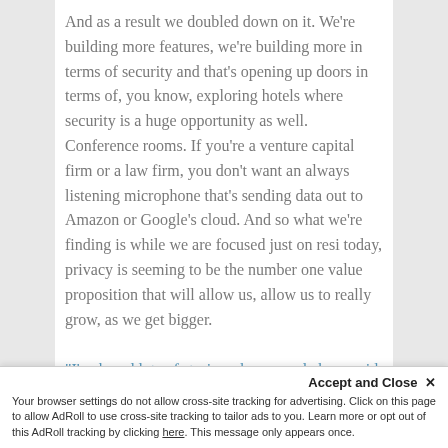And as a result we doubled down on it. We're building more features, we're building more in terms of security and that's opening up doors in terms of, you know, exploring hotels where security is a huge opportunity as well. Conference rooms. If you're a venture capital firm or a law firm, you don't want an always listening microphone that's sending data out to Amazon or Google's cloud. And so what we're finding is while we are focused just on resi today, privacy is seeming to be the number one value proposition that will allow us, allow us to really grow, as we get bigger.
"I've heard lots of stories where people have said some word or some place and then magically they
Accept and Close ×
Your browser settings do not allow cross-site tracking for advertising. Click on this page to allow AdRoll to use cross-site tracking to tailor ads to you. Learn more or opt out of this AdRoll tracking by clicking here. This message only appears once.